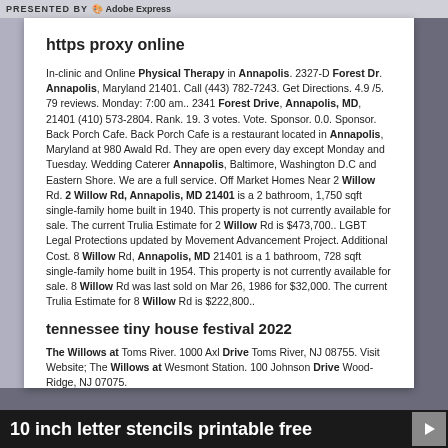PRESENTED BY Adobe Express
https proxy online
In-clinic and Online Physical Therapy in Annapolis. 2327-D Forest Dr. Annapolis, Maryland 21401. Call (443) 782-7243. Get Directions. 4.9 /5. 79 reviews. Monday: 7:00 am.. 2341 Forest Drive, Annapolis, MD, 21401 (410) 573-2804. Rank. 19. 3 votes. Vote. Sponsor. 0.0. Sponsor. Back Porch Cafe. Back Porch Cafe is a restaurant located in Annapolis, Maryland at 980 Awald Rd. They are open every day except Monday and Tuesday. Wedding Caterer Annapolis, Baltimore, Washington D.C and Eastern Shore. We are a full service. Off Market Homes Near 2 Willow Rd. 2 Willow Rd, Annapolis, MD 21401 is a 2 bathroom, 1,750 sqft single-family home built in 1940. This property is not currently available for sale. The current Trulia Estimate for 2 Willow Rd is $473,700.. LGBT Legal Protections updated by Movement Advancement Project. Additional Cost. 8 Willow Rd, Annapolis, MD 21401 is a 1 bathroom, 728 sqft single-family home built in 1954. This property is not currently available for sale. 8 Willow Rd was last sold on Mar 26, 1986 for $32,000. The current Trulia Estimate for 8 Willow Rd is $222,800..
tennessee tiny house festival 2022
The Willows at Toms River. 1000 Axl Drive Toms River, NJ 08755. Visit Website; The Willows at Wesmont Station. 100 Johnson Drive Wood-Ridge, NJ 07075.
10 inch letter stencils printable free